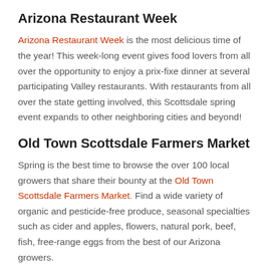Arizona Restaurant Week
Arizona Restaurant Week is the most delicious time of the year! This week-long event gives food lovers from all over the opportunity to enjoy a prix-fixe dinner at several participating Valley restaurants. With restaurants from all over the state getting involved, this Scottsdale spring event expands to other neighboring cities and beyond!
Old Town Scottsdale Farmers Market
Spring is the best time to browse the over 100 local growers that share their bounty at the Old Town Scottsdale Farmers Market. Find a wide variety of organic and pesticide-free produce, seasonal specialties such as cider and apples, flowers, natural pork, beef, fish, free-range eggs from the best of our Arizona growers.